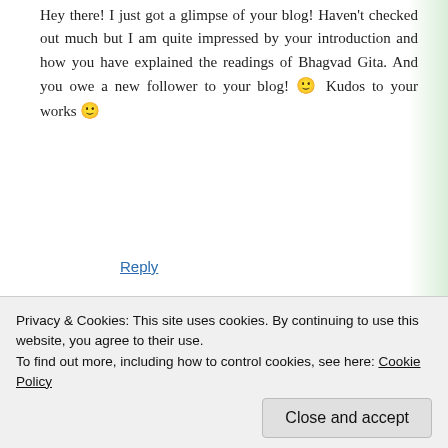Hey there! I just got a glimpse of your blog! Haven't checked out much but I am quite impressed by your introduction and how you have explained the readings of Bhagvad Gita. And you owe a new follower to your blog! 🙂 Kudos to your works 🙂
Reply
nakularora
December 10, 2014 at 10:39 am
Hey Akriti… Thank you so much. I am happy you could connect to my thoughts.. Take Care..
Privacy & Cookies: This site uses cookies. By continuing to use this website, you agree to their use.
To find out more, including how to control cookies, see here: Cookie Policy
Close and accept